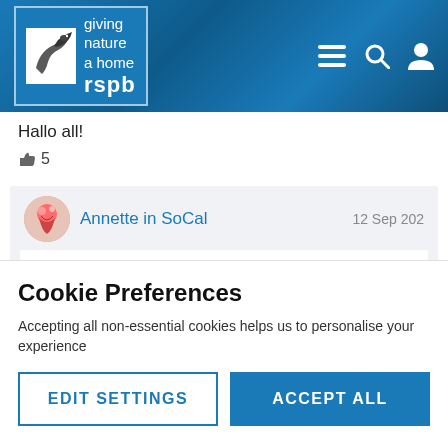[Figure (logo): RSPB logo with bird silhouette and text 'giving nature a home', plus navigation icons (hamburger menu, search, user) on blue textured header background]
Hallo all!
👍 5
Annette in SoCal  12 Sep 2021
Was glued to the U.S. Women's Open this afternoon - what amazing young women! Such good and powerful
Cookie Preferences
Accepting all non-essential cookies helps us to personalise your experience
EDIT SETTINGS
ACCEPT ALL